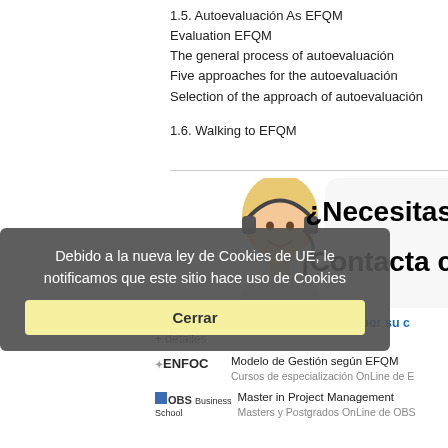1.5. Autoevaluación As EFQM
Evaluation EFQM
The general process of autoevaluación
Five approaches for the autoevaluación
Selection of the approach of autoevaluación
1.6. Walking to EFQM
[Figure (photo): Woman with headset smiling, partial banner showing ¿Necesitas ¡Contacta text]
Debido a la nueva ley de Cookies de UE, le notificamos que este sitio hace uso de Cookies
Cursos relacionados con el actual por su c
+ detalles
Modelo de Gestión según EFQM
Cursos de especialización OnLine de E
Master in Project Management
Masters y Postgrados OnLine de OBS